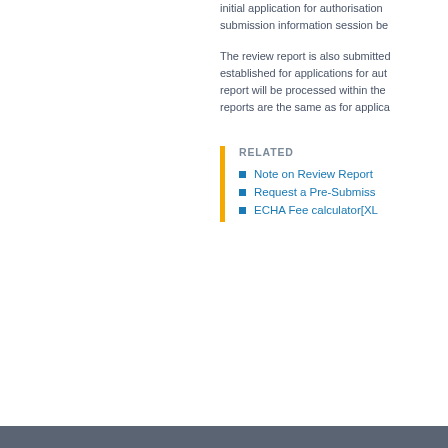initial application for authorisation submission information session be
The review report is also submitted established for applications for aut report will be processed within the reports are the same as for applica
RELATED
Note on Review Report
Request a Pre-Submiss
ECHA Fee calculator[XL